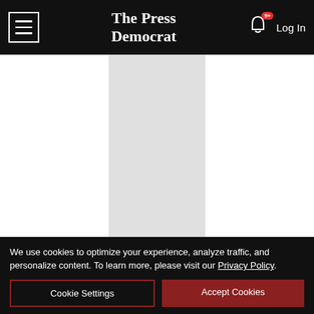The Press Democrat
[Figure (screenshot): Gray placeholder advertisement area in center column]
[Figure (screenshot): La-Z-Boy Labor Day Sale banner ad: UP TO 20% OFF STOREWIDE PLUS 0% INTEREST UNTIL JANUARY 2027]
Israel T... nt on Third S... elling
We use cookies to optimize your experience, analyze traffic, and personalize content. To learn more, please visit our Privacy Policy.
Cookie Settings | Accept Cookies